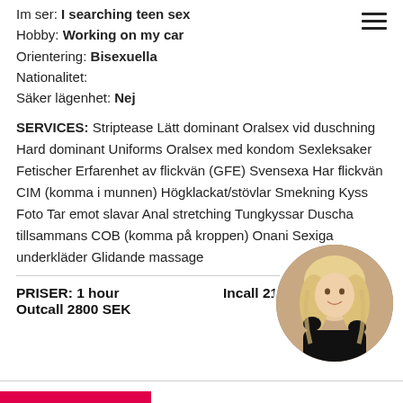Im ser: I searching teen sex
Hobby: Working on my car
Orientering: Bisexuella
Nationalitet:
Säker lägenhet: Nej
SERVICES: Striptease Lätt dominant Oralsex vid duschning Hard dominant Uniforms Oralsex med kondom Sexleksaker Fetischer Erfarenhet av flickvän (GFE) Svensexa Har flickvän CIM (komma i munnen) Högklackat/stövlar Smekning Kyss Foto Tar emot slavar Anal stretching Tungkyssar Duscha tillsammans COB (komma på kroppen) Onani Sexiga underkläder Glidande massage
PRISER: 1 hour   Incall 2100 SEK   Outcall 2800 SEK
[Figure (photo): Circular cropped photo of a blonde woman in dark clothing, smiling]